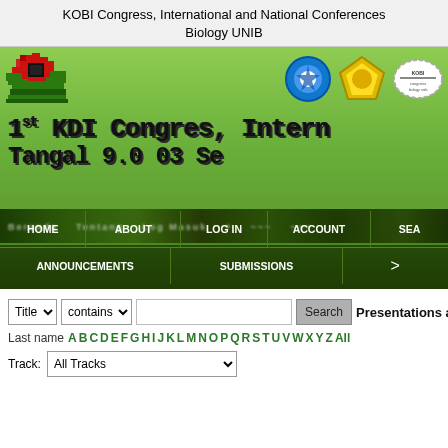KOBI Congress, International and National Conferences
Biology UNIB
[Figure (screenshot): Website banner for KOBI Congress biology conference showing pixelated logos (flower emblem on left, three circular/badge logos on right), pixelated bold text reading partial conference title, and a dark green navigation bar with links: HOME, ABOUT, LOG IN, ACCOUNT, SEA..., ANNOUNCEMENTS, SUBMISSIONS, and a > arrow]
Title contains [search input] Search | Presentations a...
Last name A B C D E F G H I J K L M N O P Q R S T U V W X Y Z All
Track: All Tracks